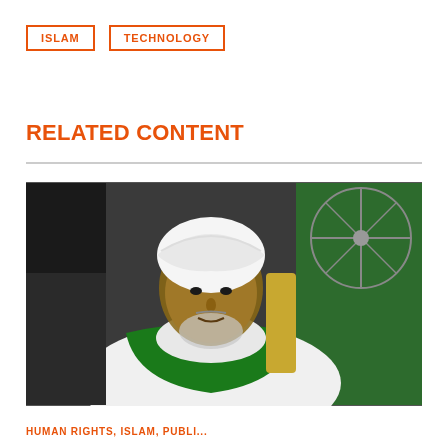ISLAM
TECHNOLOGY
RELATED CONTENT
[Figure (photo): A man wearing a white turban and green scarf/shawl, seated in an ornate chair, with a green fabric background and an electric fan visible behind him. He appears to be speaking or in a formal setting.]
HUMAN RIGHTS, ISLAM, PUBLI... (truncated at bottom)